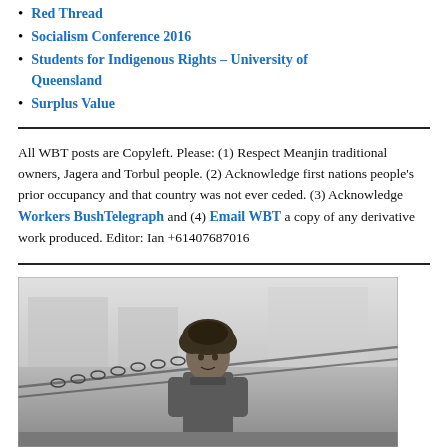Red Thread
Socialism Conference 2016
Students for Indigenous Rights – University of Queensland
Surplus Value
All WBT posts are Copyleft. Please: (1) Respect Meanjin traditional owners, Jagera and Torbul people. (2) Acknowledge first nations people's prior occupancy and that country was not ever ceded. (3) Acknowledge Workers BushTelegraph and (4) Email WBT a copy of any derivative work produced. Editor: Ian +61407687016
[Figure (photo): Black and white photograph of a man with curly hair sitting in front of chains, likely at a dock or industrial setting.]